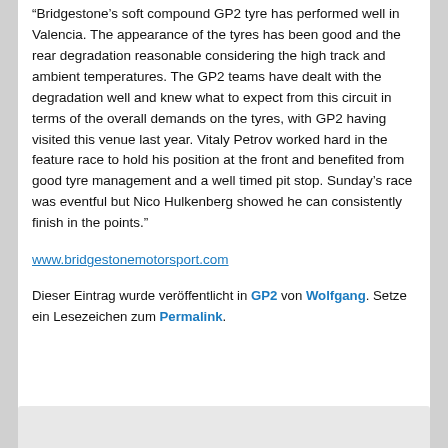“Bridgestone’s soft compound GP2 tyre has performed well in Valencia. The appearance of the tyres has been good and the rear degradation reasonable considering the high track and ambient temperatures. The GP2 teams have dealt with the degradation well and knew what to expect from this circuit in terms of the overall demands on the tyres, with GP2 having visited this venue last year. Vitaly Petrov worked hard in the feature race to hold his position at the front and benefited from good tyre management and a well timed pit stop. Sunday’s race was eventful but Nico Hulkenberg showed he can consistently finish in the points.”
www.bridgestonemotorsport.com
Dieser Eintrag wurde veröffentlicht in GP2 von Wolfgang. Setze ein Lesezeichen zum Permalink.